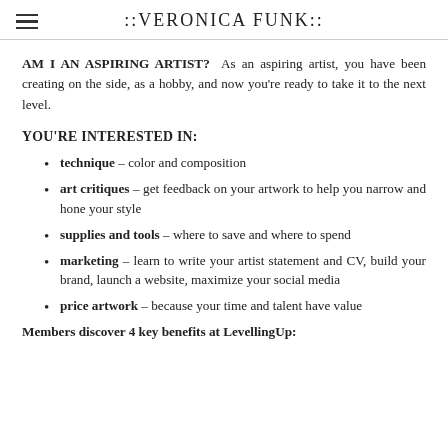::VERONICA FUNK::
AM I AN ASPIRING ARTIST?  As an aspiring artist, you have been creating on the side, as a hobby, and now you're ready to take it to the next level.
YOU'RE INTERESTED IN:
technique – color and composition
art critiques – get feedback on your artwork to help you narrow and hone your style
supplies and tools – where to save and where to spend
marketing – learn to write your artist statement and CV, build your brand, launch a website, maximize your social media
price artwork – because your time and talent have value
Members discover 4 key benefits at LevellingUp: